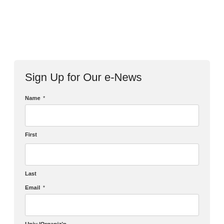Sign Up for Our e-News
Name *
First
Last
Email *
Univ./Organiz'n